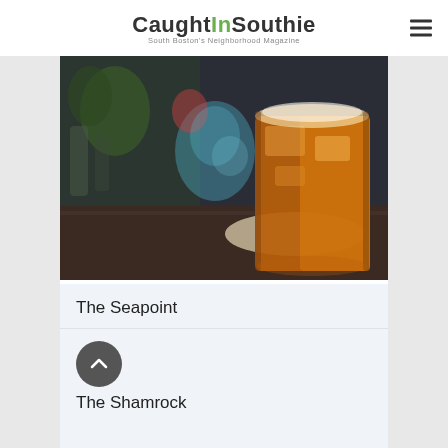CaughtInSouthie — South Boston's Neighborhood Magazine
[Figure (photo): Close-up photo of an amber cocktail or whiskey drink in a glass with ice, sitting on a paper napkin on a bar counter, blurred bar background]
The Seapoint
The Shamrock